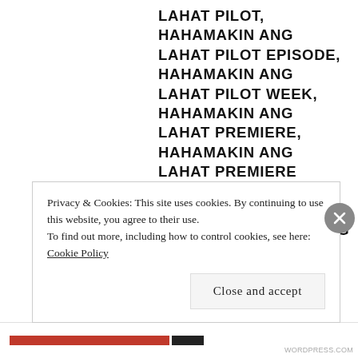LAHAT PILOT, HAHAMAKIN ANG LAHAT PILOT EPISODE, HAHAMAKIN ANG LAHAT PILOT WEEK, HAHAMAKIN ANG LAHAT PREMIERE, HAHAMAKIN ANG LAHAT PREMIERE EPISODE, HAHAMAKIN ANG LAHAT PREMIERE WEEK, HAHAMAKIN ANG LAHAT VS. DOBLE KARA, JETT PANGAN, JOYCE CHING, JULIA MONTES, KRISTOFFER MARTIN, MARC ABAYA, MARINA BENIPAYO, MONA LOUISE REY, RAFAEL ROSELL, RENZ VALERIO, RHIAN RAMOS, SINUNGALING MONG PUSO, SINUNGALING MONG PUSO 2016 TV SERIES, SINUNGALING MONG PUSO FINAL EPISODE, SINUNGALING MONG PUSO FINALE, SINUNGALING MONG...
Privacy & Cookies: This site uses cookies. By continuing to use this website, you agree to their use.
To find out more, including how to control cookies, see here: Cookie Policy
Close and accept